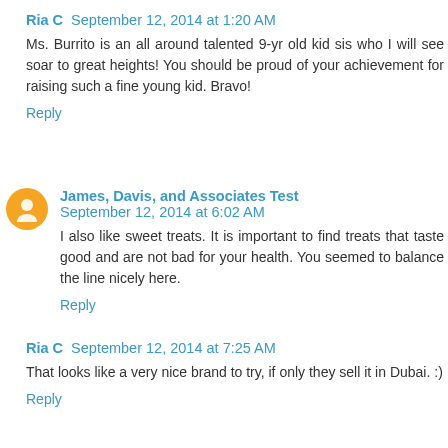Ria C September 12, 2014 at 1:20 AM
Ms. Burrito is an all around talented 9-yr old kid sis who I will see soar to great heights! You should be proud of your achievement for raising such a fine young kid. Bravo!
Reply
James, Davis, and Associates Test September 12, 2014 at 6:02 AM
I also like sweet treats. It is important to find treats that taste good and are not bad for your health. You seemed to balance the line nicely here.
Reply
Ria C September 12, 2014 at 7:25 AM
That looks like a very nice brand to try, if only they sell it in Dubai. :)
Reply